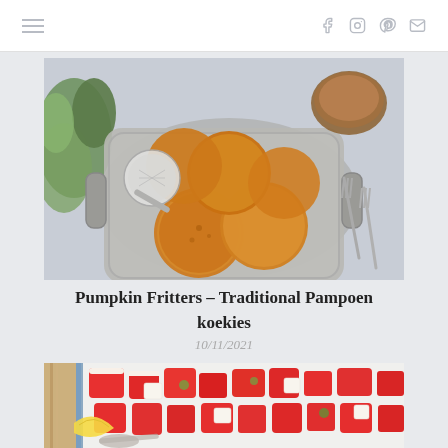Navigation bar with hamburger menu and social icons (Facebook, Instagram, Pinterest, Email)
[Figure (photo): Overhead photo of golden pumpkin fritters on a silver tray with forks and a dipping sauce bowl, on a light grey surface with green leaves in background]
Pumpkin Fritters – Traditional Pampoen koekies
10/11/2021
[Figure (photo): Overhead photo of watermelon and feta salad with pickles and lemon on a white tray with wooden utensils]